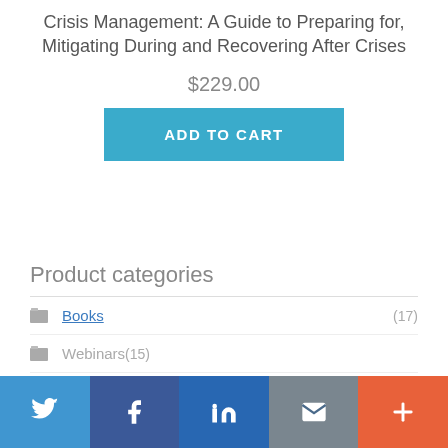Crisis Management: A Guide to Preparing for, Mitigating During and Recovering After Crises
$229.00
ADD TO CART
Product categories
Books (17)
Webinars (15)
Social share buttons: Twitter, Facebook, LinkedIn, Email, More